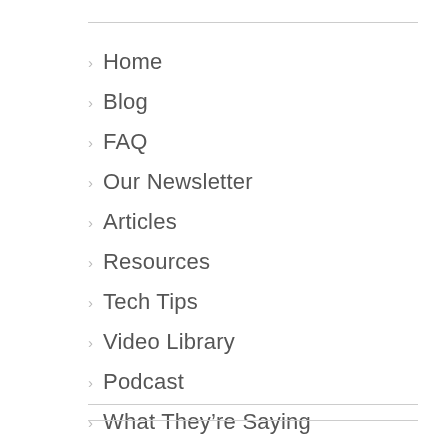Home
Blog
FAQ
Our Newsletter
Articles
Resources
Tech Tips
Video Library
Podcast
What They're Saying